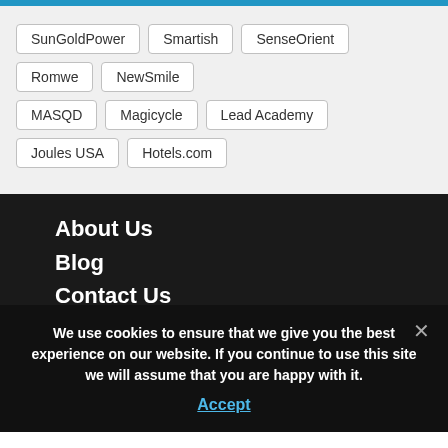SunGoldPower
Smartish
SenseOrient
Romwe
NewSmile
MASQD
Magicycle
Lead Academy
Joules USA
Hotels.com
About Us
Blog
Contact Us
Terms & Conditions
Privacy Policy
Terms and Conditions
Trend
We use cookies to ensure that we give you the best experience on our website. If you continue to use this site we will assume that you are happy with it.
Accept